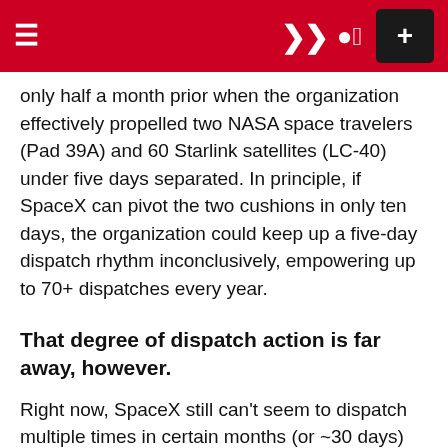≡  ) [user icon]  +
only half a month prior when the organization effectively propelled two NASA space travelers (Pad 39A) and 60 Starlink satellites (LC-40) under five days separated. In principle, if SpaceX can pivot the two cushions in only ten days, the organization could keep up a five-day dispatch rhythm inconclusively, empowering up to 70+ dispatches every year.
That degree of dispatch action is far away, however.
Right now, SpaceX still can't seem to dispatch multiple times in certain months (or ~30 days) since its first trip in 2006. Given that not many rockets in